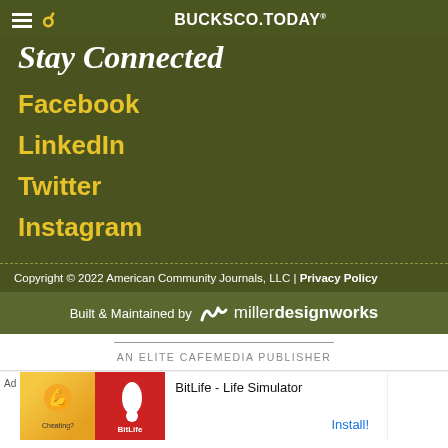BUCKSCOTODAY
Stay Connected
Facebook
LinkedIn
Twitter
Instagram
Copyright © 2022 American Community Journals, LLC | Privacy Policy
Built & Maintained by miller designworks
AN ELITE CAFEMEDIA PUBLISHER
[Figure (screenshot): Advertisement for BitLife - Life Simulator app with Install button]